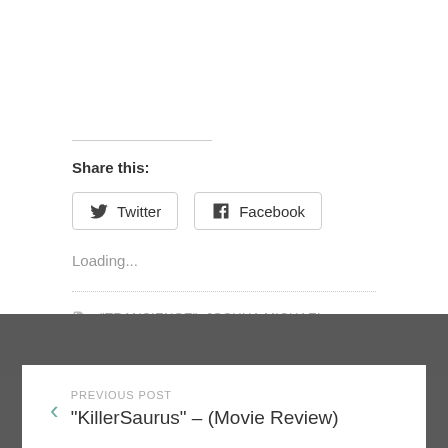Share this:
Twitter   Facebook
Loading...
"TRANSIENCE", JOSHUA MICHAEL PAYNE, SHORT FILM REVIEWS, TAN SEE YUN, TIMOTHY J. COX
PREVIOUS POST
“KillerSaurus” – (Movie Review)